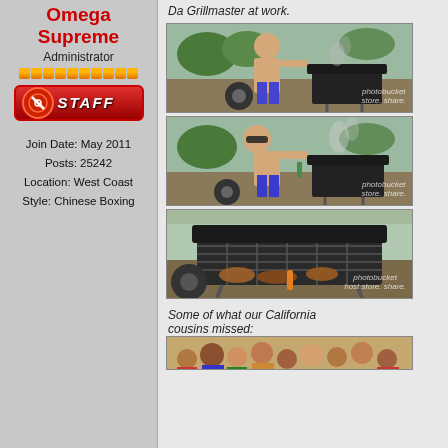Omega Supreme
Administrator
[Figure (other): Staff badge with icon]
Join Date: May 2011
Posts: 25242
Location: West Coast
Style: Chinese Boxing
Da Grillmaster at work.
[Figure (photo): Person grilling outdoors at a festival, shirtless in blue shorts, large black barrel grill, photobucket watermark]
[Figure (photo): Same person at grill, smiling, wearing sunglasses, smoke visible, photobucket watermark]
[Figure (photo): Close-up of grill grate with food, beer bottle visible, crowd in background, photobucket watermark]
Some of what our California cousins missed:
[Figure (photo): Crowd scene, partial view at bottom of page]